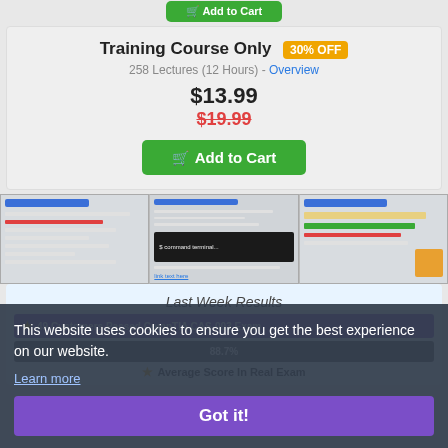Training Course Only 30% OFF
258 Lectures (12 Hours) - Overview
$13.99
$19.99
Add to Cart
[Figure (screenshot): Three screenshots of a course/exam interface showing questions and a dark terminal popup]
Last Week Results
49 Customers Passed CompTIA CAS-003 Exam
88.7%
Average Score In Real Exam
This website uses cookies to ensure you get the best experience on our website. Learn more Got it!